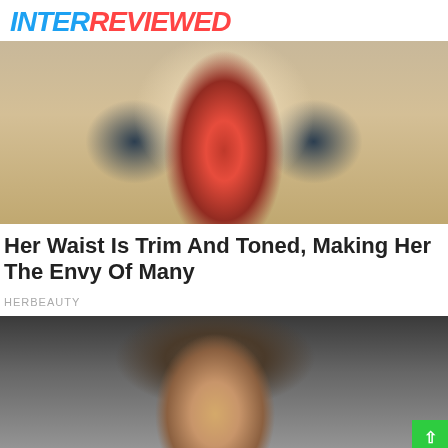INTERREVIEWED
[Figure (photo): Person wearing a colorful red and patterned bodysuit posing on a sandy beach with hands on hips]
Her Waist Is Trim And Toned, Making Her The Envy Of Many
HERBEAUTY
[Figure (photo): Young man smiling at camera with photographers and crowd in background]
[Figure (infographic): Social share bar with Facebook and Twitter buttons on blue background]